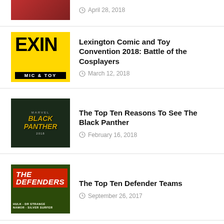April 28, 2018 (partial, top cut off)
Lexington Comic and Toy Convention 2018: Battle of the Cosplayers — March 12, 2018
The Top Ten Reasons To See The Black Panther — February 16, 2018
The Top Ten Defender Teams — September 26, 2017
INDIE SPOTLIGHT
Sistah Sister #1: Indie Spotlight — July 25, 2018